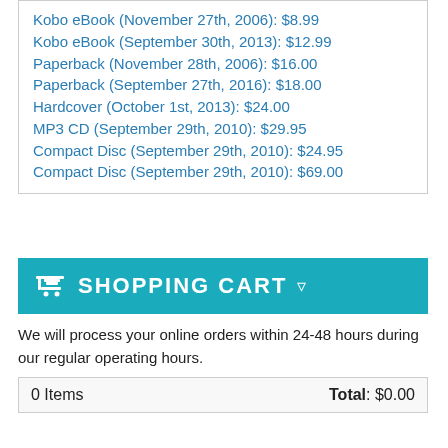Kobo eBook (November 27th, 2006): $8.99
Kobo eBook (September 30th, 2013): $12.99
Paperback (November 28th, 2006): $16.00
Paperback (September 27th, 2016): $18.00
Hardcover (October 1st, 2013): $24.00
MP3 CD (September 29th, 2010): $29.95
Compact Disc (September 29th, 2010): $24.95
Compact Disc (September 29th, 2010): $69.00
SHOPPING CART
We will process your online orders within 24-48 hours during our regular operating hours.
| 0 Items | Total: $0.00 |
| --- | --- |